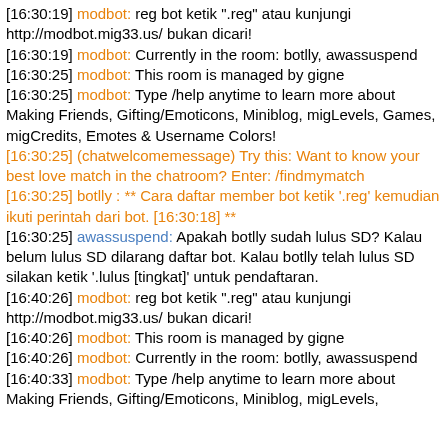[16:30:19] modbot: reg bot ketik ".reg" atau kunjungi http://modbot.mig33.us/ bukan dicari!
[16:30:19] modbot: Currently in the room: botlly, awassuspend
[16:30:25] modbot: This room is managed by gigne
[16:30:25] modbot: Type /help anytime to learn more about Making Friends, Gifting/Emoticons, Miniblog, migLevels, Games, migCredits, Emotes & Username Colors!
[16:30:25] (chatwelcomemessage) Try this: Want to know your best love match in the chatroom? Enter: /findmymatch
[16:30:25] botlly : ** Cara daftar member bot ketik '.reg' kemudian ikuti perintah dari bot. [16:30:18] **
[16:30:25] awassuspend: Apakah botlly sudah lulus SD? Kalau belum lulus SD dilarang daftar bot. Kalau botlly telah lulus SD silakan ketik '.lulus [tingkat]' untuk pendaftaran.
[16:40:26] modbot: reg bot ketik ".reg" atau kunjungi http://modbot.mig33.us/ bukan dicari!
[16:40:26] modbot: This room is managed by gigne
[16:40:26] modbot: Currently in the room: botlly, awassuspend
[16:40:33] modbot: Type /help anytime to learn more about Making Friends, Gifting/Emoticons, Miniblog, migLevels, Games, migCredits, Emotes & Username Colors!